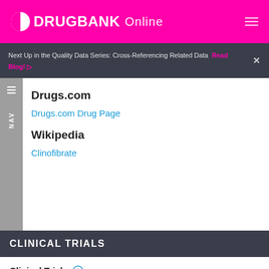DRUGBANK Online
Next Up in the Quality Data Series: Cross-Referencing Related Data  Read Blog!
Drugs.com
Drugs.com Drug Page
Wikipedia
Clinofibrate
CLINICAL TRIALS
Clinical Trials
| PHASE | STATUS | PURPOSE | CONDITIONS |
| --- | --- | --- | --- |